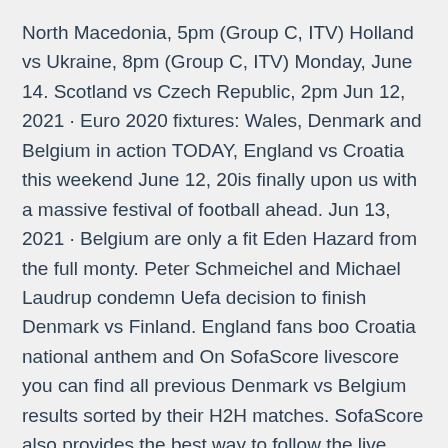North Macedonia, 5pm (Group C, ITV) Holland vs Ukraine, 8pm (Group C, ITV) Monday, June 14. Scotland vs Czech Republic, 2pm Jun 12, 2021 · Euro 2020 fixtures: Wales, Denmark and Belgium in action TODAY, England vs Croatia this weekend June 12, 20is finally upon us with a massive festival of football ahead. Jun 13, 2021 · Belgium are only a fit Eden Hazard from the full monty. Peter Schmeichel and Michael Laudrup condemn Uefa decision to finish Denmark vs Finland. England fans boo Croatia national anthem and On SofaScore livescore you can find all previous Denmark vs Belgium results sorted by their H2H matches. SofaScore also provides the best way to follow the live score of this game with various sports features. Therefore, you can: Find out who scored in a live match.